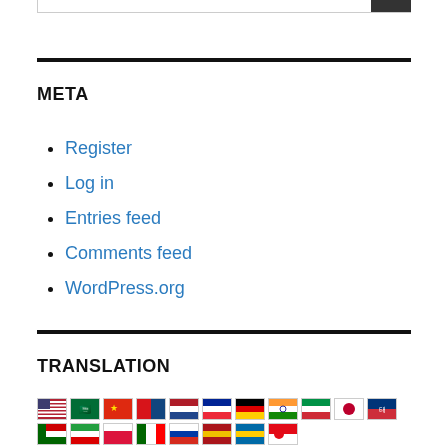META
Register
Log in
Entries feed
Comments feed
WordPress.org
TRANSLATION
[Figure (other): Row of country flag icons representing language translation options including US, Saudi Arabia, China, Czech Republic, Netherlands, France, Germany, India, Italy, Japan, South Korea, Malaysia, Iran, Poland, Portugal, Russia, Spain, Sweden, Turkey]